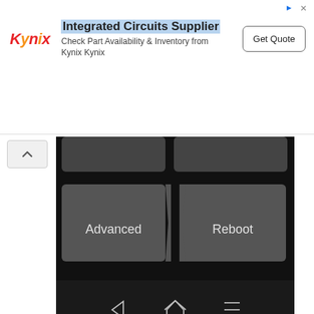[Figure (screenshot): Ad banner for Kynix: Integrated Circuits Supplier with Get Quote button]
[Figure (screenshot): Android device screenshot showing two buttons: Advanced and Reboot, with navigation bar at bottom]
Navigate to the Magisk zip folder and open the file into the internal storage.
Once you will reach the file, tap on it while select storage starts to appear.